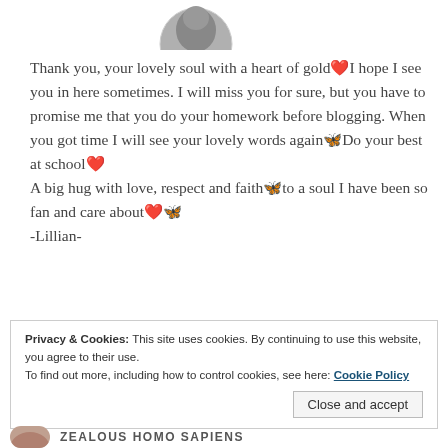[Figure (photo): Partial avatar photo at top, circular crop showing top of person's head]
Thank you, your lovely soul with a heart of gold❤️ I hope I see you in here sometimes. I will miss you for sure, but you have to promise me that you do your homework before blogging. When you got time I will see your lovely words again🦋Do your best at school❤️
A big hug with love, respect and faith🦋to a soul I have been so fan and care about❤️🦋
-Lillian-
Privacy & Cookies: This site uses cookies. By continuing to use this website, you agree to their use.
To find out more, including how to control cookies, see here: Cookie Policy
Close and accept
[Figure (photo): Partial avatar photo at bottom left]
ZEALOUS HOMO SAPIENS